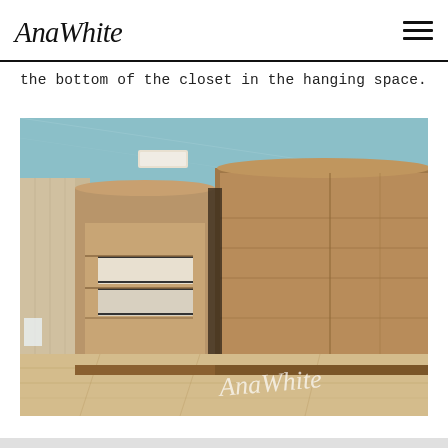AnaWhite
the bottom of the closet in the hanging space.
[Figure (photo): Interior photo of a small closet or storage unit built from plywood/wood, with drawers visible, set in a loft-style room with light blue ceiling and wooden plank floor. AnaWhite watermark in bottom right corner.]